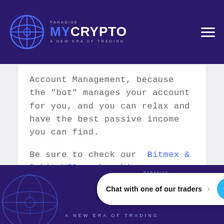PARADISE MYCRYPTO A NEW ERA OF TRADING
Account Management, because the "bot" manages your account for you, and you can relax and have the best passive income you can find.
Be sure to check our  Bitmex & Bybit VIP membership
Chat with one of our traders  [Telegram icon]  A NEW ERA OF TRADING